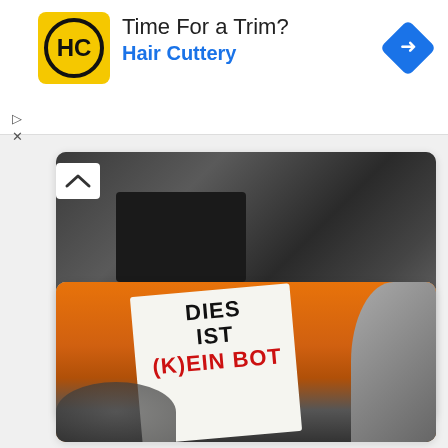[Figure (screenshot): Hair Cuttery advertisement banner with yellow/black HC logo, text 'Time For a Trim?' and 'Hair Cuttery' in blue, blue diamond arrow icon on right, play and close controls at bottom-left]
[Figure (photo): Black and white photo showing a person at a laptop/computer in dark environment]
Send a Web Page via Email as a PDF Attachment
[Figure (photo): Color photo of a protest sign reading 'DIES IST (K)EIN BOT' in black and red letters on white background, with orange background and blurred figures]